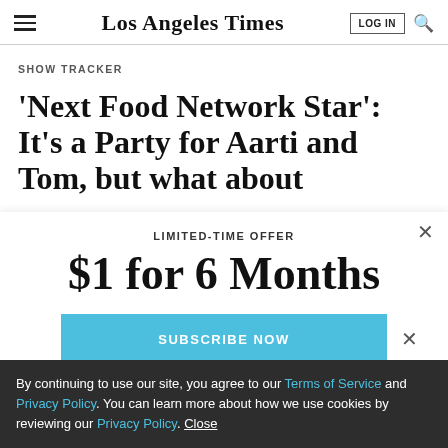Los Angeles Times
SHOW TRACKER
'Next Food Network Star': It's a Party for Aarti and Tom, but what about
LIMITED-TIME OFFER
$1 for 6 Months
SUBSCRIBE NOW
By continuing to use our site, you agree to our Terms of Service and Privacy Policy. You can learn more about how we use cookies by reviewing our Privacy Policy. Close